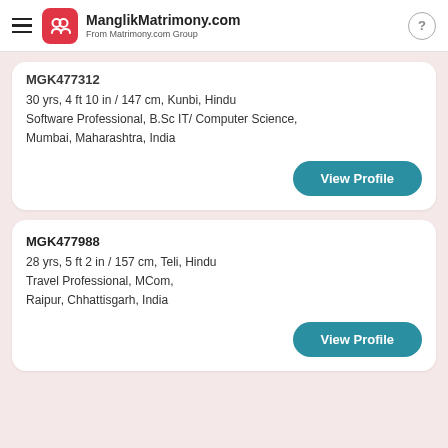ManglikMatrimony.com — From Matrimony.com Group
MGK477312
30 yrs, 4 ft 10 in / 147 cm, Kunbi, Hindu
Software Professional, B.Sc IT/ Computer Science,
Mumbai, Maharashtra, India
View Profile
MGK477988
28 yrs, 5 ft 2 in / 157 cm, Teli, Hindu
Travel Professional, MCom,
Raipur, Chhattisgarh, India
View Profile